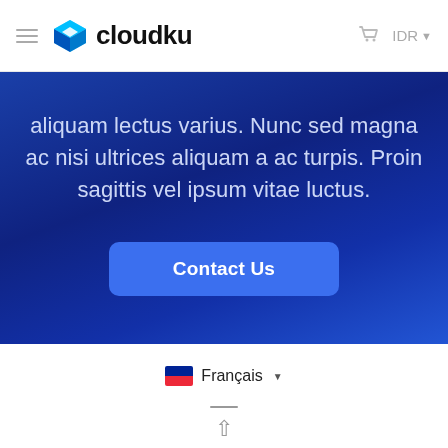cloudku — IDR
aliquam lectus varius. Nunc sed magna ac nisi ultrices aliquam a ac turpis. Proin sagittis vel ipsum vitae luctus.
Contact Us
Français
Copyright © 2022 CLOUDKU VPS by MSS. Tous droits réservés.